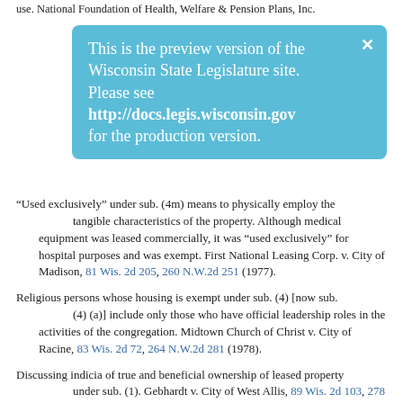use. National Foundation of Health, Welfare & Pension Plans, Inc.
[Figure (screenshot): Blue banner overlay: 'This is the preview version of the Wisconsin State Legislature site. Please see http://docs.legis.wisconsin.gov for the production version.']
“Used exclusively” under sub. (4m) means to physically employ the tangible characteristics of the property. Although medical equipment was leased commercially, it was “used exclusively” for hospital purposes and was exempt. First National Leasing Corp. v. City of Madison, 81 Wis. 2d 205, 260 N.W.2d 251 (1977).
Religious persons whose housing is exempt under sub. (4) [now sub. (4) (a)] include only those who have official leadership roles in the activities of the congregation. Midtown Church of Christ v. City of Racine, 83 Wis. 2d 72, 264 N.W.2d 281 (1978).
Discussing indicia of true and beneficial ownership of leased property under sub. (1). Gebhardt v. City of West Allis, 89 Wis. 2d 103, 278 N.W.2d 465 (1979).
The residence of a hospital chaplain was exempt under sub. (4) [now sub. (4) (a)] as housing for a pastor and under sub. (4m) because it was reasonably necessary for the hospital to have a priest located near the hospital to serve the spiritual needs of its patients and staff. Sisters of St. Mary v. City of Madison, 89 Wis. 2d 372, 278 N.W.2d 814 (1979).
To qualify as an educational association under sub. (4) [now sub. (4) (a)], an organization must be devoted to “traditional” educational activities, which must include traditional charitable objectives, which must benefit the public directly and lessen the burden of